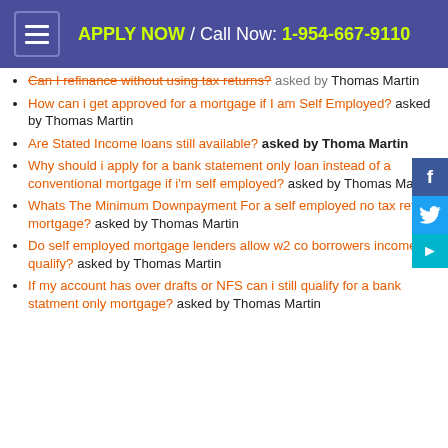APPLY NOW / Call Now: 1-954-667-9110
Can I refinance without using tax returns? asked by Thomas Martin
How can i get approved for a mortgage if I am Self Employed? asked by Thomas Martin
Are Stated Income loans still available? asked by Thomas Martin
Why should i apply for a bank statement only loan instead of a conventional mortgage if i'm self employed? asked by Thomas Martin
Whats The Minimum Downpayment For a self employed no tax return mortgage? asked by Thomas Martin
Do self employed mortgage lenders allow w2 co borrowers income to qualify? asked by Thomas Martin
If my account has over drafts or NFS can i still qualify for a bank statment only mortgage? asked by Thomas Martin